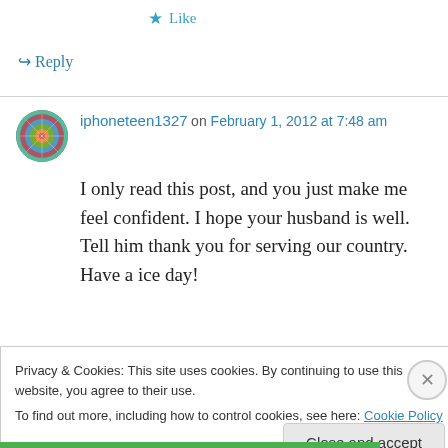★ Like
↪ Reply
iphoneteen1327 on February 1, 2012 at 7:48 am
I only read this post, and you just make me feel confident. I hope your husband is well. Tell him thank you for serving our country. Have a ice day!
Privacy & Cookies: This site uses cookies. By continuing to use this website, you agree to their use.
To find out more, including how to control cookies, see here: Cookie Policy
Close and accept